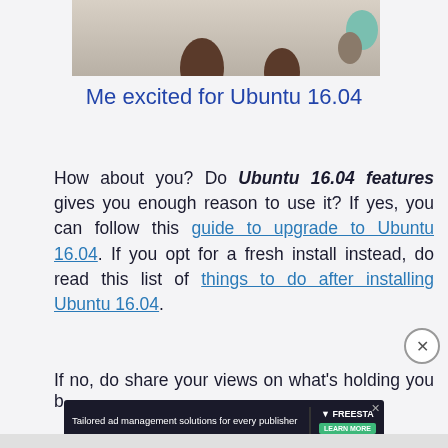[Figure (photo): Cropped photo showing what appears to be a cat or animal on a light-colored carpet/rug surface, with the animal's dark paws or body visible at the bottom of the frame.]
Me excited for Ubuntu 16.04
How about you? Do Ubuntu 16.04 features gives you enough reason to use it? If yes, you can follow this guide to upgrade to Ubuntu 16.04. If you opt for a fresh install instead, do read this list of things to do after installing Ubuntu 16.04.
If no, do share your views on what's holding you b...
[Figure (screenshot): Advertisement banner: Tailored ad management solutions for every publisher — FREESTA, with a LEARN MORE button. Features dark background with illustrated characters.]